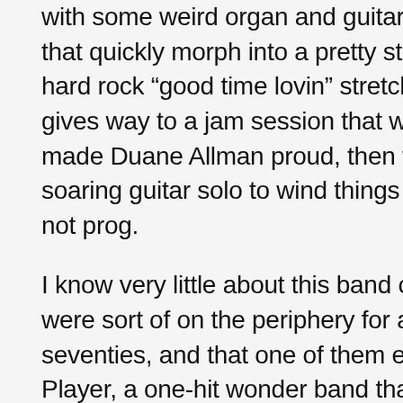with some weird organ and guitar sound effects that quickly morph into a pretty straightforward hard rock “good time lovin” stretch, which itself gives way to a jam session that would have made Duane Allman proud, then finally a soaring guitar solo to wind things up. Tasty, if not prog.
I know very little about this band other than they were sort of on the periphery for a while in the seventies, and that one of them ended up in Player, a one-hit wonder band that I got into as a teenager. Other than that this is a sort of Wishbone Ash with two keyboardists instead of two guitarists, and whose biggest album didn’t have the consistency of vision that Ash’s ‘Argus’ did. This is more like some of the Ash albums that followed that one, and most of them are good but not great. That applies to this one as well. Three stars.
peace